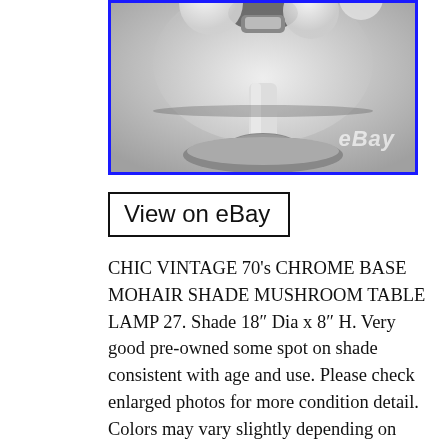[Figure (photo): Close-up photo of a vintage chrome mushroom table lamp with white/grey shade, showing the stem and top of the shade from below. eBay watermark visible.]
View on eBay
CHIC VINTAGE 70’s CHROME BASE MOHAIR SHADE MUSHROOM TABLE LAMP 27. Shade 18″ Dia x 8″ H. Very good pre-owned some spot on shade consistent with age and use. Please check enlarged photos for more condition detail. Colors may vary slightly depending on your monitor settings. PLEASE VIEW ALL